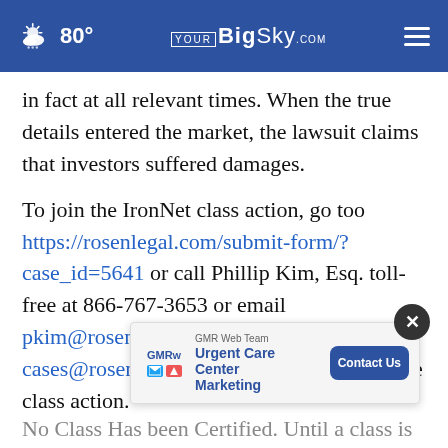80° YourBigSky.com
in fact at all relevant times. When the true details entered the market, the lawsuit claims that investors suffered damages.
To join the IronNet class action, go too https://rosenlegal.com/submit-form/?case_id=5641 or call Phillip Kim, Esq. toll-free at 866-767-3653 or email pkim@rosenlegal.com or cases@rosenlegal.com for information on the class action.
[Figure (screenshot): GMR Web Team advertisement banner with 'Urgent Care Center Marketing' text and 'Contact Us' button, with a close (X) button overlay]
No Class Has been Certified. Until a class is